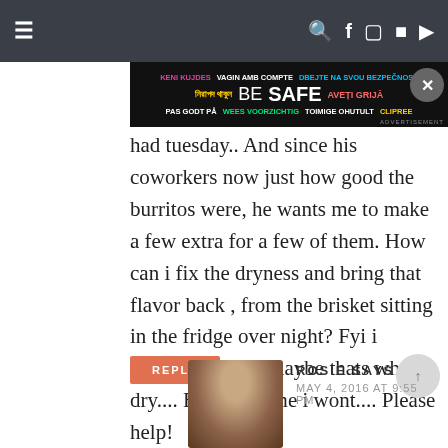≡  🔍 f 📷 p ▶
[Figure (screenshot): BE SAFE multilingual advertisement banner with dark background]
had tuesday.. And since his coworkers now just how good the burritos were, he wants me to make a few extra for a few of them. How can i fix the dryness and bring that flavor back , from the brisket sitting in the fridge over night? Fyi i shredded it (all) maybe thats why its dry.... But next time i wont.... Please help!
REPLY
ROSIE SAYS
MAY 4, 2016 AT 9:55 PM